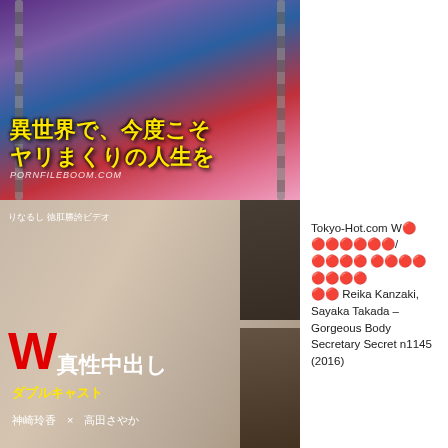[Figure (illustration): Anime illustration with multiple fantasy characters, Japanese text title overlay and watermark PORNFILEBOOM.COM]
[Figure (photo): DVD cover photo showing two Japanese women with W真性中出し ダブルキャスト text, actors 神崎玲香 and 高田さやか]
Tokyo-Hot.com W???????/???? ???? ???? ?? Reika Kanzaki, Sayaka Takada – Gorgeous Body Secretary Secret n1145 (2016)